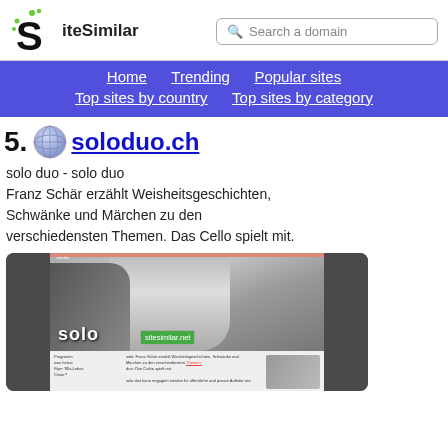SiteSimilar — Search a domain
Home | Trending | Popular sites | Top sites by country | Top sites by category
25. soloduo.ch
solo duo - solo duo
Franz Schär erzählt Weisheitsgeschichten, Schwänke und Märchen zu den verschiedensten Themen. Das Cello spielt mit.
[Figure (screenshot): Screenshot of soloduo.ch website showing a black and white photo of a person with a cello, with the word 'solo' overlaid, and a sitesimilar.net watermark. Below is a content panel with small text about Programm, was heisst, Flyer.]